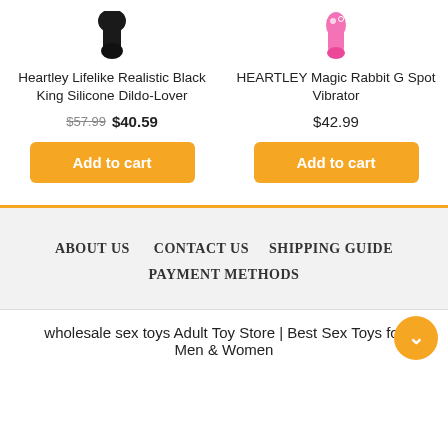[Figure (photo): Product image of Heartley Lifelike Realistic Black King Silicone Dildo-Lover (black toy, top cropped)]
Heartley Lifelike Realistic Black King Silicone Dildo-Lover
$57.99  $40.59
[Figure (photo): Product image of HEARTLEY Magic Rabbit G Spot Vibrator (pink/white toy, top cropped)]
HEARTLEY Magic Rabbit G Spot Vibrator
$42.99
ABOUT US   CONTACT US   SHIPPING GUIDE   PAYMENT METHODS
wholesale sex toys Adult Toy Store | Best Sex Toys for Men & Women